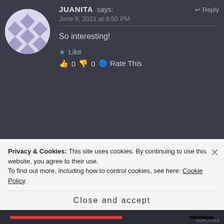[Figure (illustration): Circular avatar with purple/lavender diamond quilt pattern on white background for user Juanita]
JUANITA says:
Reply
June 9, 2021 at 8:50 PM
So interesting!
Like
👍 0 👎 0 ℹ Rate This
[Figure (illustration): Circular avatar with pink/magenta diamond quilt pattern for user Carl Peltzer]
CARL PELTZER says:
Reply
September 9, 2018 at 7:51 PM
Privacy & Cookies: This site uses cookies. By continuing to use this website, you agree to their use.
To find out more, including how to control cookies, see here: Cookie Policy
Close and accept